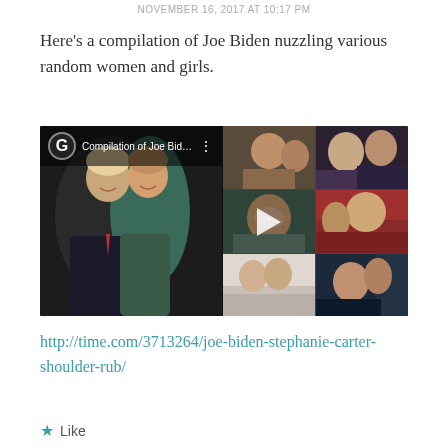NOVEMBER 16, 2017 AT 10:17 PM
Here's a compilation of Joe Biden nuzzling various random women and girls.
[Figure (screenshot): Video thumbnail showing a YouTube-style compilation video titled 'Compilation of Joe Biden bei...' with a grid of photos showing Joe Biden with various women, with a play button in the center.]
http://time.com/3713264/joe-biden-stephanie-carter-shoulder-rub/
Like